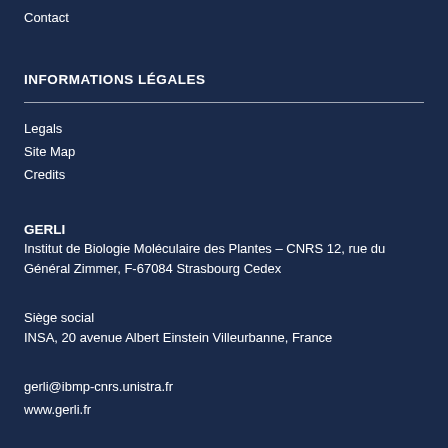Contact
INFORMATIONS LÉGALES
Legals
Site Map
Credits
GERLI
Institut de Biologie Moléculaire des Plantes – CNRS 12, rue du Général Zimmer, F-67084 Strasbourg Cedex
Siège social
INSA, 20 avenue Albert Einstein Villeurbanne, France
gerli@ibmp-cnrs.unistra.fr
www.gerli.fr